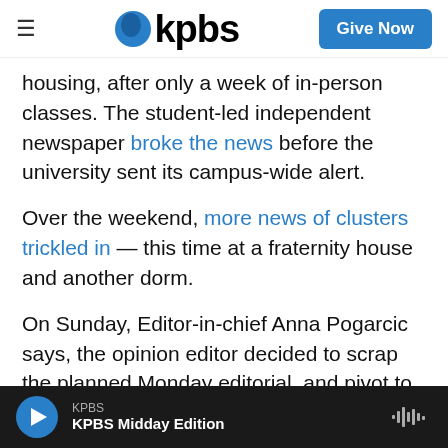KPBS — Give Now
housing, after only a week of in-person classes. The student-led independent newspaper broke the news before the university sent its campus-wide alert.
Over the weekend, more news of clusters trickled in — this time at a fraternity house and another dorm.
On Sunday, Editor-in-chief Anna Pogarcic says, the opinion editor decided to scrap the planned Monday editorial, and pivot to address the rapidly devolving reopening plan the university had been touting all summer. After a late-night power outage,
KPBS — KPBS Midday Edition